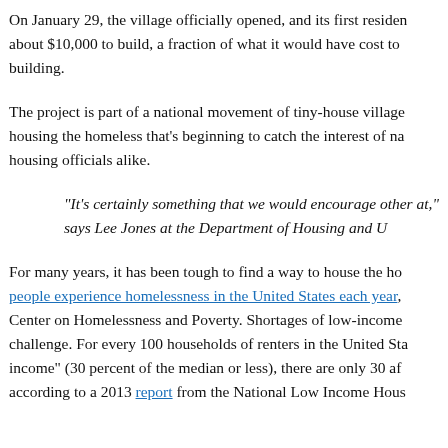On January 29, the village officially opened, and its first residents moved in. Each tiny house cost about $10,000 to build, a fraction of what it would have cost to construct a traditional housing building.
The project is part of a national movement of tiny-house villages as an approach to housing the homeless that’s beginning to catch the interest of national, state, and local housing officials alike.
“It’s certainly something that we would encourage other communities to look at,” says Lee Jones at the Department of Housing and Urban Development.
For many years, it has been tough to find a way to house the homeless. Over 1.5 million people experience homelessness in the United States each year, according to the National Center on Homelessness and Poverty. Shortages of low-income housing compounds the challenge. For every 100 households of renters in the United States with “extremely low income” (30 percent of the median or less), there are only 30 affordable units available, according to a 2013 report from the National Low Income Housing Coalition.